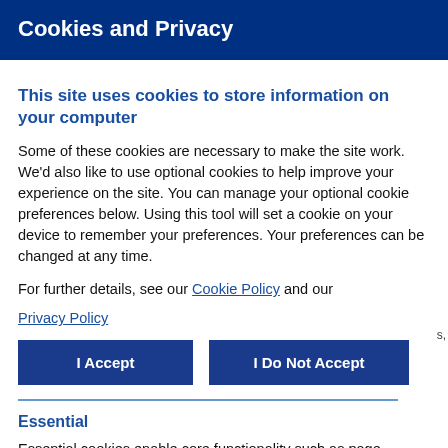Cookies and Privacy
This site uses cookies to store information on your computer
Some of these cookies are necessary to make the site work. We'd also like to use optional cookies to help improve your experience on the site. You can manage your optional cookie preferences below. Using this tool will set a cookie on your device to remember your preferences. Your preferences can be changed at any time.
For further details, see our Cookie Policy and our Privacy Policy
I Accept | I Do Not Accept
Essential
Essential cookies enable core functionality such as page navigation and access to secure areas. The